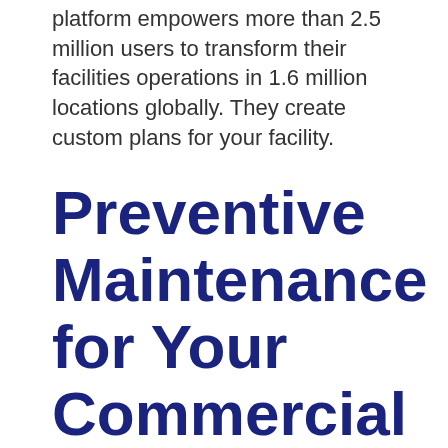platform empowers more than 2.5 million users to transform their facilities operations in 1.6 million locations globally. They create custom plans for your facility.
Preventive Maintenance for Your Commercial Roof Integrates Into Facility Management Software